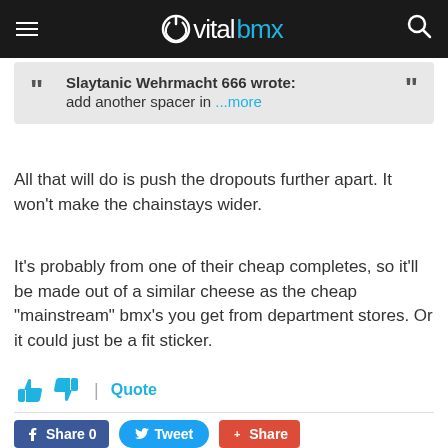vitalbmx
Slaytanic Wehrmacht 666 wrote: add another spacer in ...more
All that will do is push the dropouts further apart. It won't make the chainstays wider.
It's probably from one of their cheap completes, so it'll be made out of a similar cheese as the cheap "mainstream" bmx's you get from department stores. Or it could just be a fit sticker.
👍 👎 | Quote
Share 0   Tweet   Share
Get notified about new comments via email
Login and add your comment